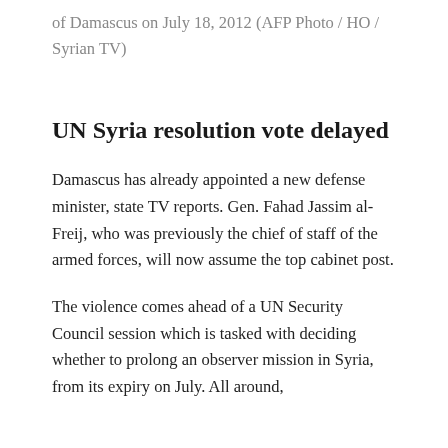of Damascus on July 18, 2012 (AFP Photo / HO / Syrian TV)
UN Syria resolution vote delayed
Damascus has already appointed a new defense minister, state TV reports. Gen. Fahad Jassim al-Freij, who was previously the chief of staff of the armed forces, will now assume the top cabinet post.
The violence comes ahead of a UN Security Council session which is tasked with deciding whether to prolong an observer mission in Syria, from its expiry on July. All around,